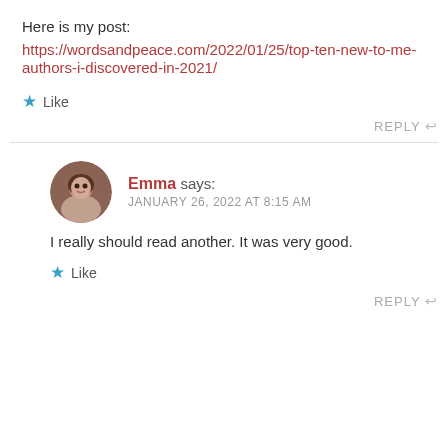Here is my post:
https://wordsandpeace.com/2022/01/25/top-ten-new-to-me-authors-i-discovered-in-2021/
Like
REPLY
Emma says: JANUARY 26, 2022 AT 8:15 AM
I really should read another. It was very good.
Like
REPLY